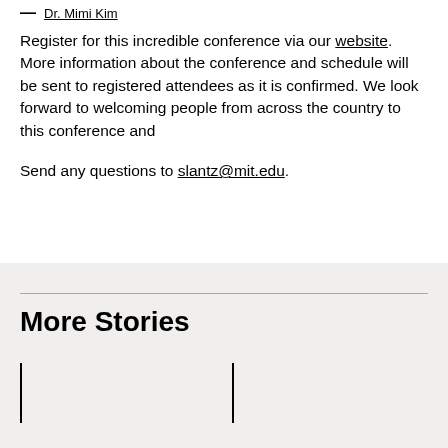— Dr. Mimi Kim
Register for this incredible conference via our website. More information about the conference and schedule will be sent to registered attendees as it is confirmed. We look forward to welcoming people from across the country to this conference and
Send any questions to slantz@mit.edu.
More Stories